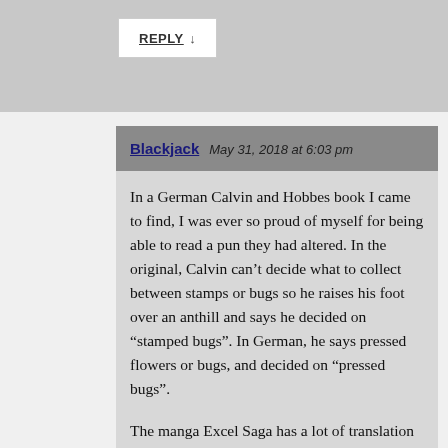REPLY ↓
Blackjack   May 31, 2018 at 6:03 pm
In a German Calvin and Hobbes book I came to find, I was ever so proud of myself for being able to read a pun they had altered. In the original, Calvin can't decide what to collect between stamps or bugs so he raises his foot over an anthill and says he decided on “stamped bugs”. In German, he says pressed flowers or bugs, and decided on “pressed bugs”.
The manga Excel Saga has a lot of translation notes. One that sticks out to me is how at one point, Excel beholds some fast food mascots being washed away and she remarks on one of them. In Japanese she refered to one that foreigners wouldn’t know, so in English it was changed so that she remarked on the Ca